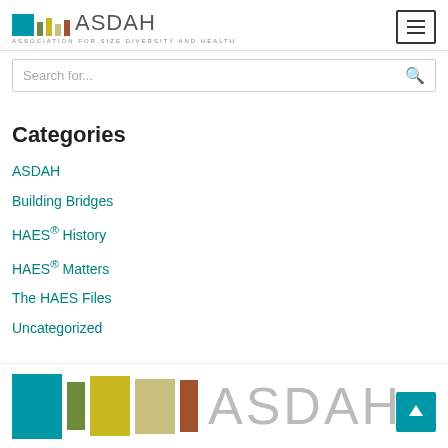[Figure (logo): ASDAH logo with colored vertical bars and text 'ASDAH' with subtitle 'Association for Size Diversity and Health']
Search for...
Categories
ASDAH
Building Bridges
HAES® History
HAES® Matters
The HAES Files
Uncategorized
[Figure (logo): ASDAH footer logo with large colored bars and 'ASDAH' text in light gray, with teal back-to-top arrow button]